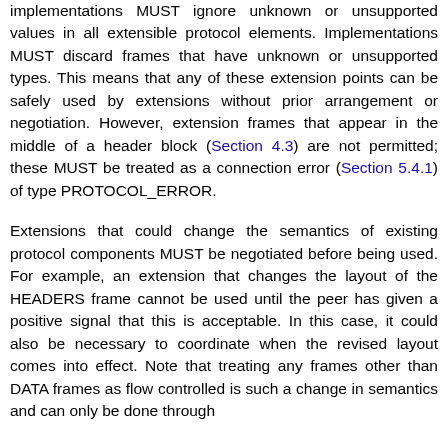Implementations MUST ignore unknown or unsupported values in all extensible protocol elements. Implementations MUST discard frames that have unknown or unsupported types. This means that any of these extension points can be safely used by extensions without prior arrangement or negotiation. However, extension frames that appear in the middle of a header block (Section 4.3) are not permitted; these MUST be treated as a connection error (Section 5.4.1) of type PROTOCOL_ERROR.
Extensions that could change the semantics of existing protocol components MUST be negotiated before being used. For example, an extension that changes the layout of the HEADERS frame cannot be used until the peer has given a positive signal that this is acceptable. In this case, it could also be necessary to coordinate when the revised layout comes into effect. Note that treating any frames other than DATA frames as flow controlled is such a change in semantics and can only be done through